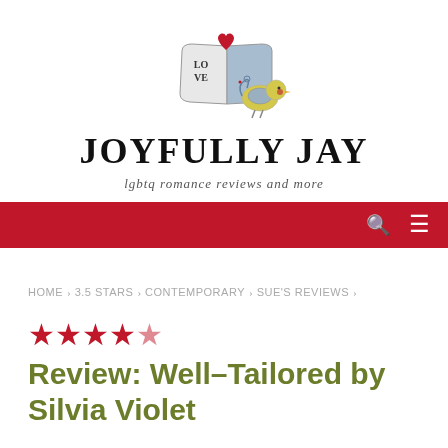[Figure (logo): Joyfully Jay blog logo: illustrated open book with LOVE written on it, red heart, and a small decorative bird holding a red rose]
JOYFULLY JAY
lgbtq romance reviews and more
Navigation bar with search and menu icons
HOME › 3.5 STARS › CONTEMPORARY › SUE'S REVIEWS ›
★★★★½
Review: Well–Tailored by Silvia Violet